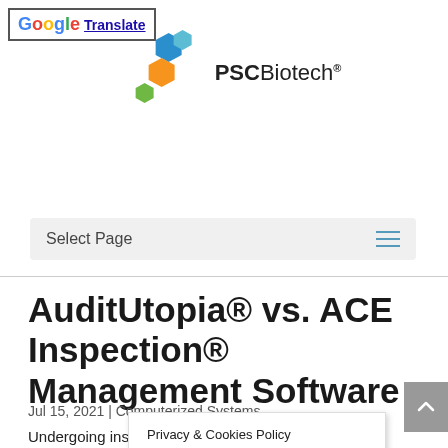[Figure (logo): Google Translate button with G logo and blue border]
[Figure (logo): PSC Biotech logo with colored hexagonal shapes and PSCBiotech wordmark with registered trademark]
[Figure (screenshot): Navigation bar with Select Page text and hamburger menu icon]
AuditUtopia® vs. ACE Inspection® Management Software
Jul 15, 2021 | Computerized Systems
Undergoing inspections and audits is a harrowing experience. Before the FDA, EPA, or other regulatory agency inspectors visit, you need to form an Inspection Team with the
Privacy & Cookies Policy